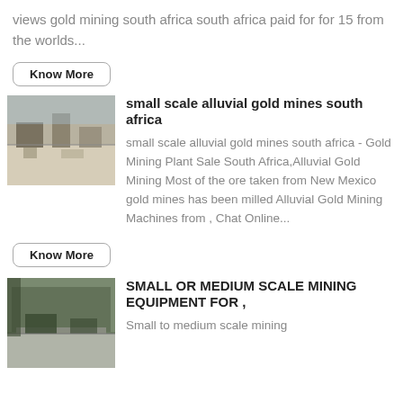views gold mining south africa south africa paid for for 15 from the worlds...
Know More
[Figure (photo): Aerial or ground-level view of a mining site with structures and equipment]
small scale alluvial gold mines south africa
small scale alluvial gold mines south africa - Gold Mining Plant Sale South Africa,Alluvial Gold Mining Most of the ore taken from New Mexico gold mines has been milled Alluvial Gold Mining Machines from , Chat Online...
Know More
[Figure (photo): Interior or exterior view of a mining facility or shed]
SMALL OR MEDIUM SCALE MINING EQUIPMENT FOR ,
Small to medium scale mining